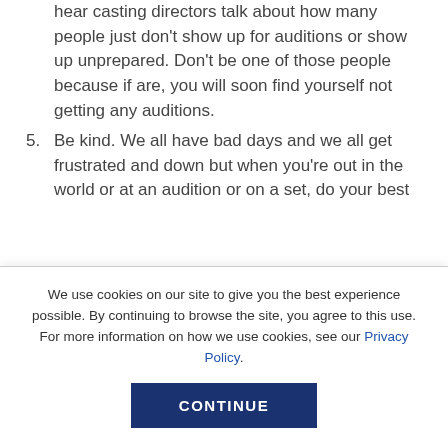hear casting directors talk about how many people just don't show up for auditions or show up unprepared. Don't be one of those people because if are, you will soon find yourself not getting any auditions.
5. Be kind. We all have bad days and we all get frustrated and down but when you're out in the world or at an audition or on a set, do your best
We use cookies on our site to give you the best experience possible. By continuing to browse the site, you agree to this use. For more information on how we use cookies, see our Privacy Policy.